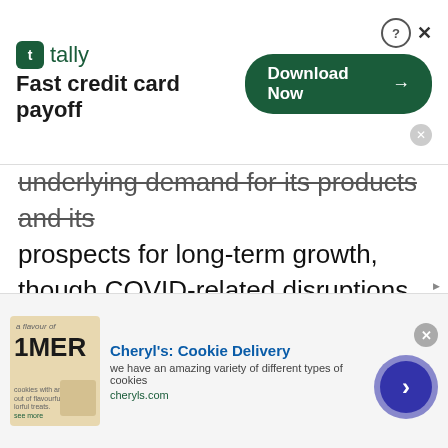[Figure (other): Tally app advertisement banner: 'Fast credit card payoff' with Download Now button]
underlying demand for its products and its prospects for long-term growth, though COVID-related disruptions to patients' ability to access health care providers will cause near-term challenges.
The company also is engaged with a range of research organizations on collaborative efforts to accelerate the development of medicines and
[Figure (other): Cheryl's Cookie Delivery advertisement banner]